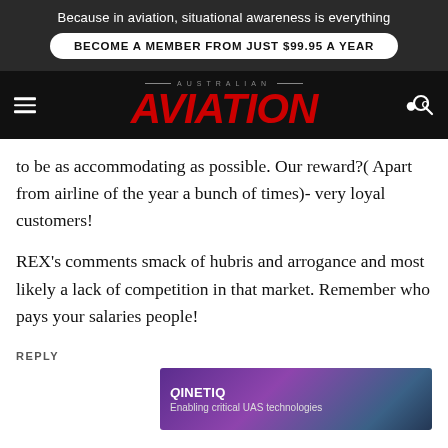Because in aviation, situational awareness is everything
BECOME A MEMBER FROM JUST $99.95 A YEAR
[Figure (logo): Australian Aviation magazine logo — red italic AVIATION text with AUSTRALIAN lettering above]
to be as accommodating as possible. Our reward?( Apart from airline of the year a bunch of times)- very loyal customers!
REX's comments smack of hubris and arrogance and most likely a lack of competition in that market. Remember who pays your salaries people!
REPLY
[Figure (screenshot): QinetiQ advertisement banner — Enabling critical UAS technologies]